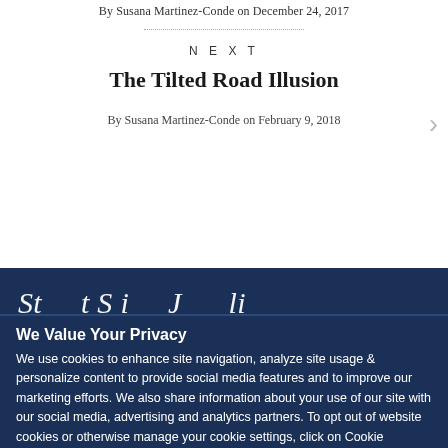By Susana Martinez-Conde on December 24, 2017
NEXT
The Tilted Road Illusion
By Susana Martinez-Conde on February 9, 2018
Support Science Journalism
We Value Your Privacy
We use cookies to enhance site navigation, analyze site usage & personalize content to provide social media features and to improve our marketing efforts. We also share information about your use of our site with our social media, advertising and analytics partners. To opt out of website cookies or otherwise manage your cookie settings, click on Cookie Settings. View Our